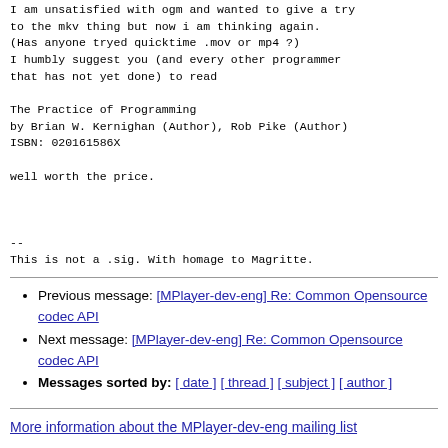I am unsatisfied with ogm and wanted to give a try
to the mkv thing but now i am thinking again.
(Has anyone tryed quicktime .mov or mp4 ?)
I humbly suggest you (and every other programmer
that has not yet done) to read

The Practice of Programming
by Brian W. Kernighan (Author), Rob Pike (Author)
ISBN: 020161586X

well worth the price.



--
This is not a .sig. With homage to Magritte.
Previous message: [MPlayer-dev-eng] Re: Common Opensource codec API
Next message: [MPlayer-dev-eng] Re: Common Opensource codec API
Messages sorted by: [ date ] [ thread ] [ subject ] [ author ]
More information about the MPlayer-dev-eng mailing list